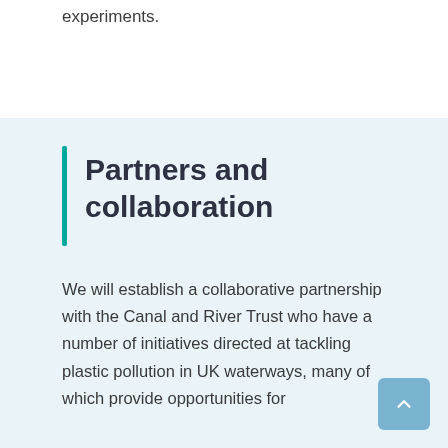experiments.
Partners and collaboration
We will establish a collaborative partnership with the Canal and River Trust who have a number of initiatives directed at tackling plastic pollution in UK waterways, many of which provide opportunities for